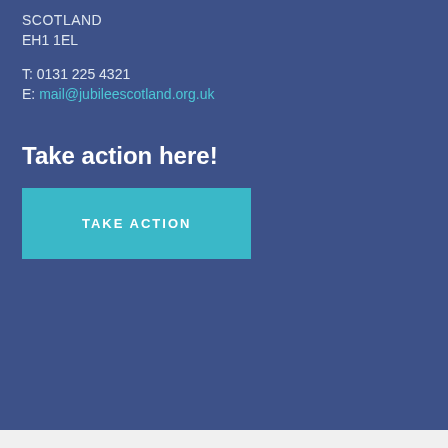SCOTLAND
EH1 1EL
T: 0131 225 4321
E: mail@jubileescotland.org.uk
Take action here!
[Figure (other): Teal 'TAKE ACTION' button]